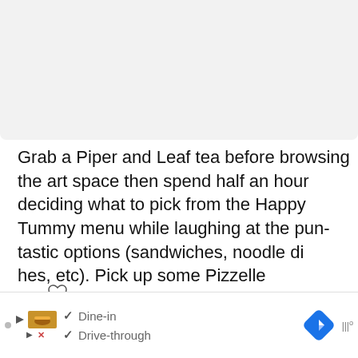[Figure (photo): Light gray placeholder image area at the top of the page, partially cut off]
Grab a Piper and Leaf tea before browsing the art space then spend half an hour deciding what to pick from the Happy Tummy menu while laughing at the pun-tastic options (sandwiches, noodle dishes, etc). Pick up some Pizzelle chocolates as a gift, for yourself.
[Figure (other): Bottom advertisement bar showing Dine-in and Drive-through checkmarks with navigation and food logos]